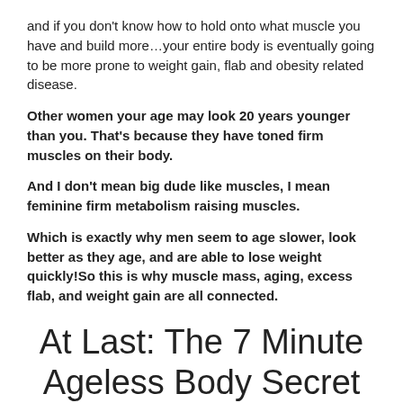and if you don't know how to hold onto what muscle you have and build more…your entire body is eventually going to be more prone to weight gain, flab and obesity related disease.
Other women your age may look 20 years younger than you. That's because they have toned firm muscles on their body.
And I don't mean big dude like muscles, I mean feminine firm metabolism raising muscles.
Which is exactly why men seem to age slower, look better as they age, and are able to lose weight quickly!So this is why muscle mass, aging, excess flab, and weight gain are all connected.
At Last: The 7 Minute Ageless Body Secret Program that